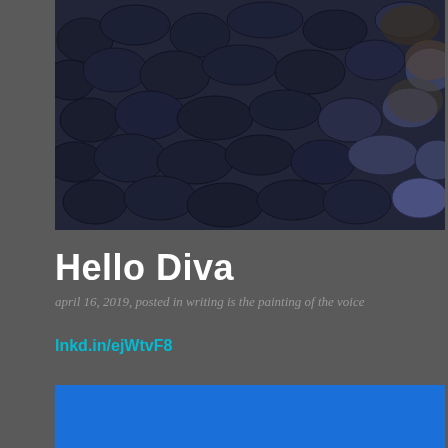[Figure (photo): Aerial or close-up view of dark blue-black smooth rounded rocks/pebbles covering the ground, some with slight rusty brown highlights on the right side]
Hello Diva
april 16, 2019, posted in writing is the painting of the voice
lnkd.in/ejWtvF8
[Figure (photo): Two hands making an 'OK' gesture against a bright blue background, hands appear in the lower portion of the image]